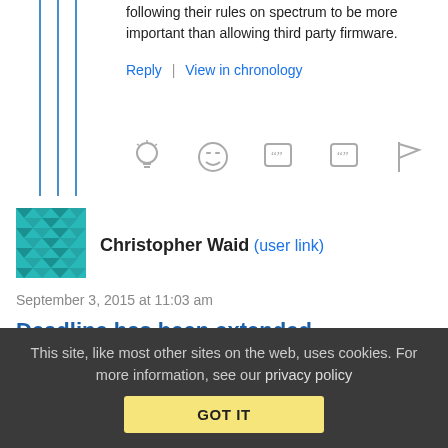following their rules on spectrum to be more important than allowing third party firmware.
Reply | View in chronology
[Figure (screenshot): Row of action icons: lightbulb, laugh emoji, quote bubble, quote bubble variant, flag]
[Figure (illustration): Teal geometric avatar icon for Christopher Waid]
Christopher Waid (user link)
September 3, 2015 at 11:03 am
Deadline has been extended
This site, like most other sites on the web, uses cookies. For more information, see our privacy policy
GOT IT